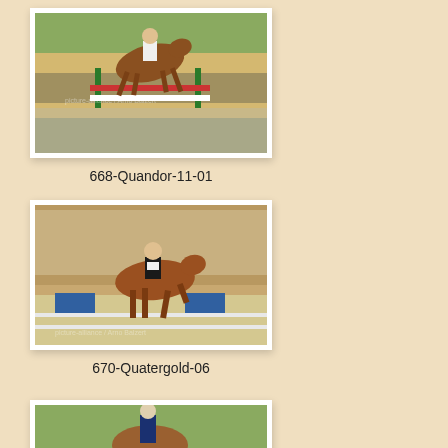[Figure (photo): Equestrian show jumping photo: horse and rider clearing a fence at a competition with green jumps and crowd in background]
668-Quandor-11-01
[Figure (photo): Equestrian dressage photo: chestnut horse and rider performing dressage in front of a large crowd of spectators]
670-Quatergold-06
[Figure (photo): Equestrian show jumping photo: horse and rider at a jumping competition, partially visible at bottom of page]